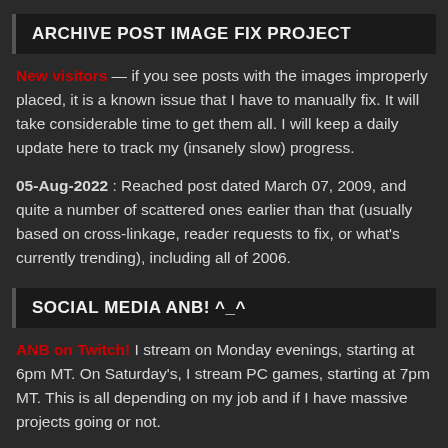ARCHIVE POST IMAGE FIX PROJECT
New visitors — if you see posts with the images improperly placed, it is a known issue that I have to manually fix. It will take considerable time to get them all. I will keep a daily update here to track my (insanely slow) progress.
05-Aug-2022 : Reached post dated March 07, 2009, and quite a number of scattered ones earlier than that (usually based on cross-linkage, reader requests to fix, or what's currently trending), including all of 2006.
SOCIAL MEDIA ANB! ^_^
ANB on Twitch! I stream on Monday evenings, starting at 6pm MT. On Saturday's, I stream PC games, starting at 7pm MT. This is all depending on my job and if I have massive projects going or not.
ANB on Twitter
ANB on Facebook
ANB on YouTube! I'm doing gaming videos for the most part, so click